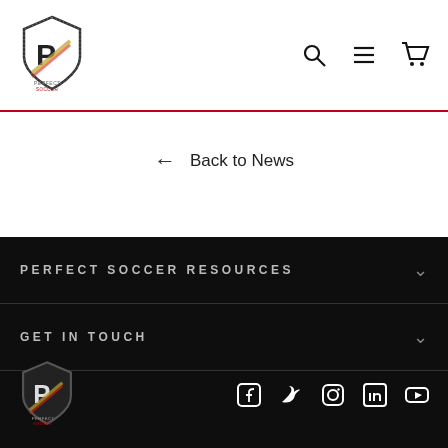[Figure (logo): Perfect Soccer shield logo in top left of header]
[Figure (illustration): Navigation icons: search, menu (hamburger), cart in header top right]
← Back to News
PERFECT SOCCER RESOURCES
GET IN TOUCH
[Figure (logo): Perfect Soccer shield logo in footer]
[Figure (illustration): Social media icons: Facebook, Twitter, Instagram, LinkedIn, YouTube]